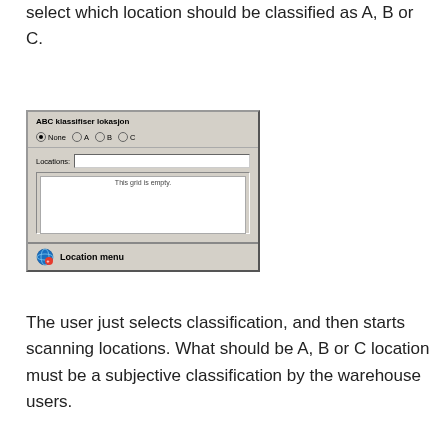select which location should be classified as A, B or C.
[Figure (screenshot): Dialog box titled 'ABC klassifiser lokasjon' with radio buttons for None, A, B, C (None selected), a Locations text input field, an empty grid area saying 'This grid is empty.', and a footer button labeled 'Location menu' with a globe icon.]
The user just selects classification, and then starts scanning locations. What should be A, B or C location must be a subjective classification by the warehouse users.